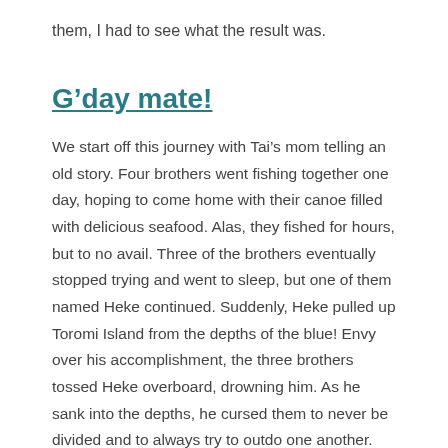them, I had to see what the result was.
G’day mate!
We start off this journey with Tai’s mom telling an old story. Four brothers went fishing together one day, hoping to come home with their canoe filled with delicious seafood. Alas, they fished for hours, but to no avail. Three of the brothers eventually stopped trying and went to sleep, but one of them named Heke continued. Suddenly, Heke pulled up Toromi Island from the depths of the blue! Envy over his accomplishment, the three brothers tossed Heke overboard, drowning him. As he sank into the depths, he cursed them to never be divided and to always try to outdo one another. Right after this, a great storm